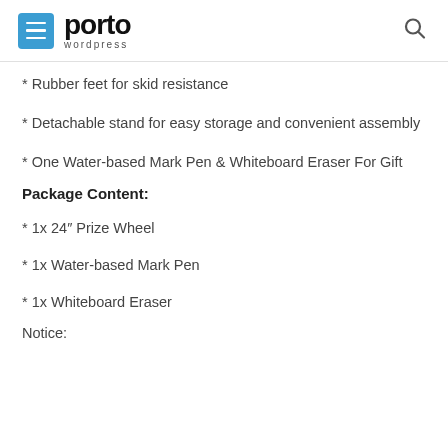porto wordpress
* Rubber feet for skid resistance
* Detachable stand for easy storage and convenient assembly
* One Water-based Mark Pen & Whiteboard Eraser For Gift
Package Content:
* 1x 24″ Prize Wheel
* 1x Water-based Mark Pen
* 1x Whiteboard Eraser
Notice: